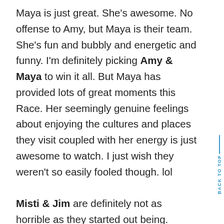Maya is just great. She's awesome. No offense to Amy, but Maya is their team. She's fun and bubbly and energetic and funny. I'm definitely picking Amy & Maya to win it all. But Maya has provided lots of great moments this Race. Her seemingly genuine feelings about enjoying the cultures and places they visit coupled with her energy is just awesome to watch. I just wish they weren't so easily fooled though. lol

Misti & Jim are definitely not as horrible as they started out being. They've been Racing well and I honestly would be meh on them winning instead of annoyed or upset. Jim can still be too overconfident, but they're fine and definitely not the worst. Adam & Bethany though are just really